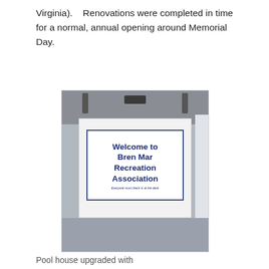Virginia).   Renovations were completed in time for a normal, annual opening around Memorial Day.
[Figure (photo): Photo of a white reception desk/podium with a sign reading 'Welcome to Bren Mar Recreation Association' and smaller text 'Everyone must check in at the desk'. Equipment on top of the desk. Blue-grey speckled floor visible.]
Pool house upgraded with